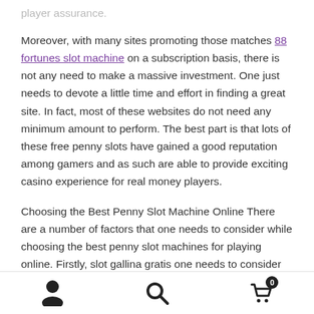player assurance.
Moreover, with many sites promoting those matches 88 fortunes slot machine on a subscription basis, there is not any need to make a massive investment. One just needs to devote a little time and effort in finding a great site. In fact, most of these websites do not need any minimum amount to perform. The best part is that lots of these free penny slots have gained a good reputation among gamers and as such are able to provide exciting casino experience for real money players.
Choosing the Best Penny Slot Machine Online There are a number of factors that one needs to consider while choosing the best penny slot machines for playing online. Firstly, slot gallina gratis one needs to consider the
[person icon] [search icon] [cart icon with badge 0]